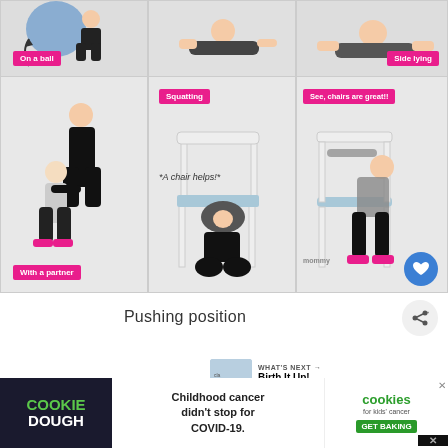[Figure (photo): Photo grid showing labor/birth pushing positions: top row has 'On a ball' and 'Side lying' positions; bottom row has 'With a partner' (squatting), 'Squatting with a chair helps', and 'See, chairs are great!!' positions. Mommy brand watermark visible. Blue heart button overlay.]
Pushing position
[Figure (infographic): WHAT'S NEXT arrow panel showing 'Birth It Up! Epidural Series.' with thumbnail image]
Then, she talks in detail about different
[Figure (screenshot): Cookie Dough advertisement banner: 'Childhood cancer didn't stop for COVID-19.' with cookies for kids cancer GET BAKING logo]